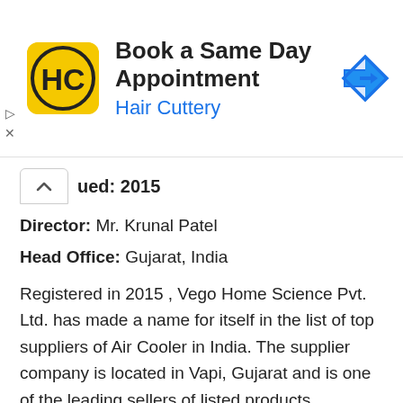[Figure (screenshot): Hair Cuttery advertisement banner with logo, 'Book a Same Day Appointment' text, and blue navigation arrow icon]
ed: 2015
Director: Mr. Krunal Patel
Head Office: Gujarat, India
Registered in 2015 , Vego Home Science Pvt. Ltd. has made a name for itself in the list of top suppliers of Air Cooler in India. The supplier company is located in Vapi, Gujarat and is one of the leading sellers of listed products.
Click to rate this post!
[Total: 0 Average: 0]